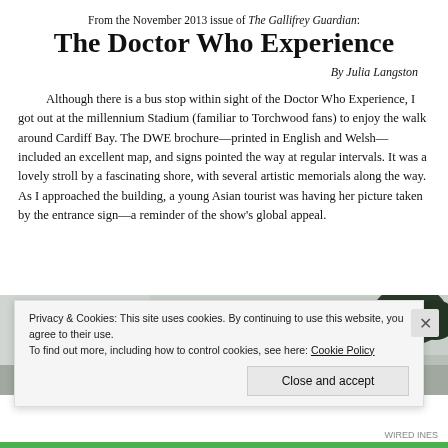From the November 2013 issue of The Gallifrey Guardian:
The Doctor Who Experience
By Julia Langston
Although there is a bus stop within sight of the Doctor Who Experience, I got out at the millennium Stadium (familiar to Torchwood fans) to enjoy the walk around Cardiff Bay. The DWE brochure—printed in English and Welsh—included an excellent map, and signs pointed the way at regular intervals. It was a lovely stroll by a fascinating shore, with several artistic memorials along the way. As I approached the building, a young Asian tourist was having her picture taken by the entrance sign—a reminder of the show's global appeal.
[Figure (photo): Partial photo of the Doctor Who Experience building exterior, showing sky and trees in the background]
Privacy & Cookies: This site uses cookies. By continuing to use this website, you agree to their use.
To find out more, including how to control cookies, see here: Cookie Policy
Close and accept